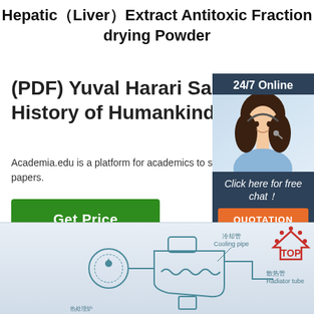Hepatic（Liver）Extract Antitoxic Fraction drying Powder
(PDF) Yuval Harari Sapiens History of Humankind ...
Academia.edu is a platform for academics to share papers.
Get Price
[Figure (infographic): 24/7 Online chat widget with a woman wearing a headset, 'Click here for free chat!' text, and an orange QUOTATION button]
[Figure (engineering-diagram): Diagram showing cooling pipe (冷却管), radiator tube (散热管) and other components with Chinese and English labels, plus a red TOP icon in the upper right]